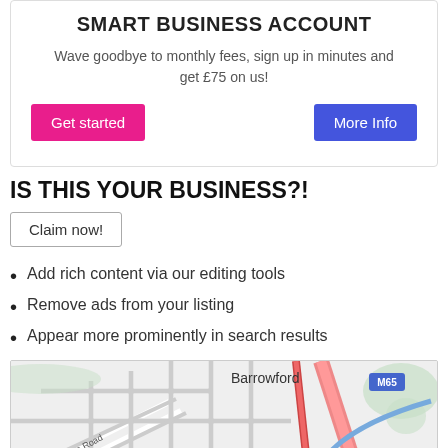SMART BUSINESS ACCOUNT
Wave goodbye to monthly fees, sign up in minutes and get £75 on us!
Get started
More Info
IS THIS YOUR BUSINESS?!
Claim now!
Add rich content via our editing tools
Remove ads from your listing
Appear more prominently in search results
[Figure (map): Street map of Barrowford area showing roads including Wheatley Lane Road, M65 motorway, with a blue location pin marker and a zoom-in (+) button]